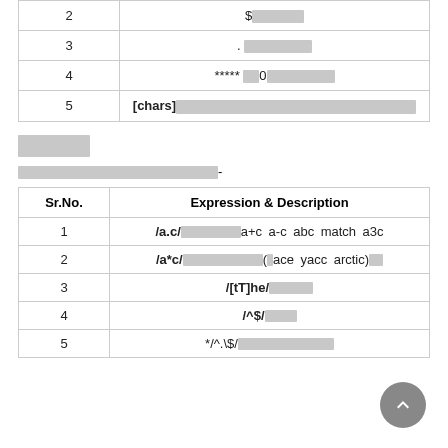| Sr.No. | Expression & Description |
| --- | --- |
| 2 | $████ |
| 3 | . ██████ |
| 4 | ***** █0██████ |
| 5 | [chars]█████████████████████████-█████████ |
████
███████████████████████████-
| Sr.No. | Expression & Description |
| --- | --- |
| 1 | /a.c/██████████a+c░a-c░abc░match░a3c |
| 2 | /a*c/████████████(░ace░yacc░arctic)██ |
| 3 | /[tT]he/██████ |
| 4 | /^$/█████ |
| 5 | */^.\$/██████████████ |